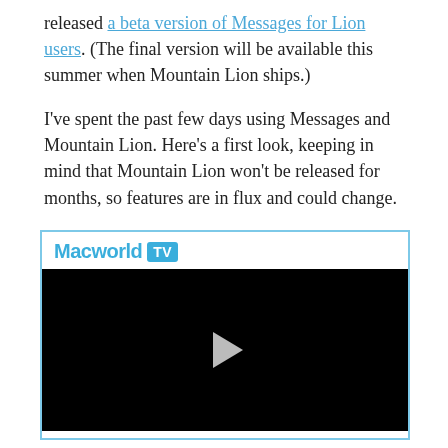released a beta version of Messages for Lion users. (The final version will be available this summer when Mountain Lion ships.)
I've spent the past few days using Messages and Mountain Lion. Here's a first look, keeping in mind that Mountain Lion won't be released for months, so features are in flux and could change.
[Figure (screenshot): Macworld TV video player widget with a black video screen and a play button in the center]